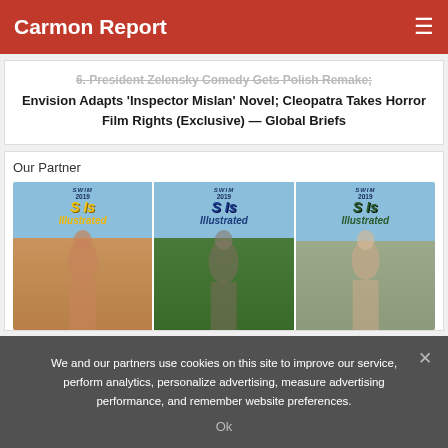Carmon Report
President Zelensky Comedy Gets Polish Remake; Envision Adapts 'Inspector Mislan' Novel; Cleopatra Takes Horror Film Rights (Exclusive) — Global Briefs
Our Partner
[Figure (photo): Three Sports Illustrated Swimsuit 2019 magazine covers displayed side by side]
We and our partners use cookies on this site to improve our service, perform analytics, personalize advertising, measure advertising performance, and remember website preferences.